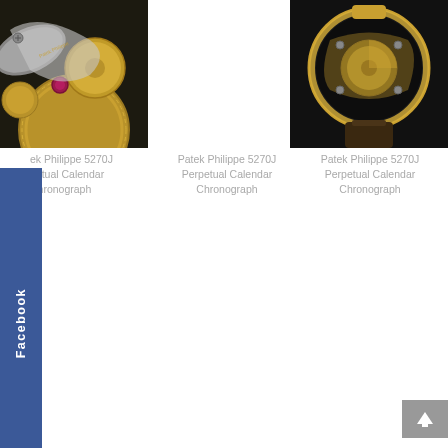[Figure (photo): Close-up of a Patek Philippe 5270J watch movement showing gears and a ruby jewel, silver and gold tones]
[Figure (photo): White space / empty center column photo area]
[Figure (photo): Back view of a Patek Philippe 5270J watch in gold case with leather strap showing exposed movement]
Patek Philippe 5270J Perpetual Calendar Chronograph
Patek Philippe 5270J Perpetual Calendar Chronograph
Patek Philippe 5270J Perpetual Calendar Chronograph
Facebook
[Figure (other): Back to top arrow button, grey square with upward arrow]